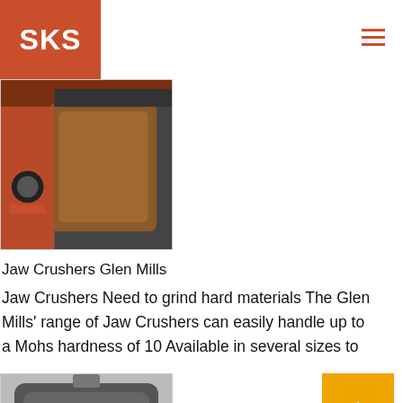SKS
[Figure (photo): Close-up photo of a jaw crusher showing orange machine frame and brown/tan crushing plate]
Jaw Crushers Glen Mills
Jaw Crushers Need to grind hard materials The Glen Mills' range of Jaw Crushers can easily handle up to a Mohs hardness of 10 Available in several sizes to
[Figure (photo): Photo of jaw crusher component showing dark grey crusher body with multiple bolt holes visible]